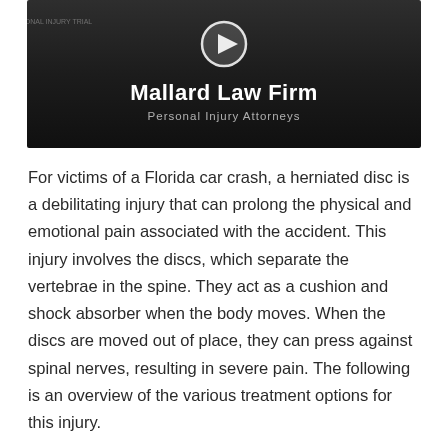[Figure (screenshot): Video thumbnail for Mallard Law Firm, Personal Injury Attorneys. Shows a dark background with a play button circle icon at top center, the firm name 'Mallard Law Firm' in white bold text, and subtitle 'Personal Injury Attorneys' below it.]
For victims of a Florida car crash, a herniated disc is a debilitating injury that can prolong the physical and emotional pain associated with the accident. This injury involves the discs, which separate the vertebrae in the spine. They act as a cushion and shock absorber when the body moves. When the discs are moved out of place, they can press against spinal nerves, resulting in severe pain. The following is an overview of the various treatment options for this injury.